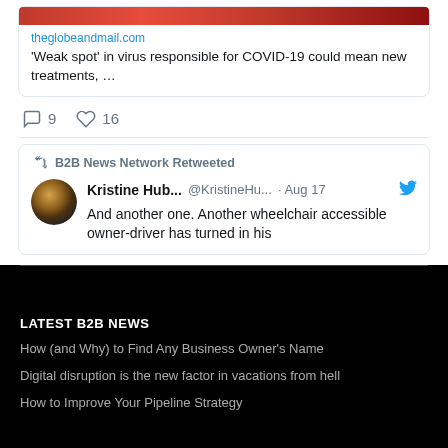[Figure (screenshot): Partial image at top of tweet card]
theglobeandmail.com
'Weak spot' in virus responsible for COVID-19 could mean new treatments, …
9  16 (tweet actions: replies and likes)
B2B News Network Retweeted
Kristine Hub... @KristineHu... · Aug 17
And another one. Another wheelchair accessible owner-driver has turned in his
LATEST B2B NEWS
How (and Why) to Find Any Business Owner's Name
Digital disruption is the new factor in vacations from hell
How to Improve Your Pipeline Strategy